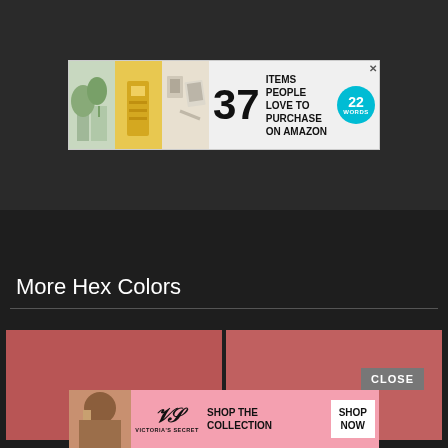[Figure (screenshot): Advertisement banner showing '37 ITEMS PEOPLE LOVE TO PURCHASE ON AMAZON' with product images and a cyan '22 WORDS' badge]
More Hex Colors
[Figure (screenshot): Two color swatches showing muted rose/dusty red hex colors side by side]
[Figure (screenshot): Victoria's Secret advertisement banner with model, VS logo, 'SHOP THE COLLECTION' text and 'SHOP NOW' button and 'CLOSE' button overlay]